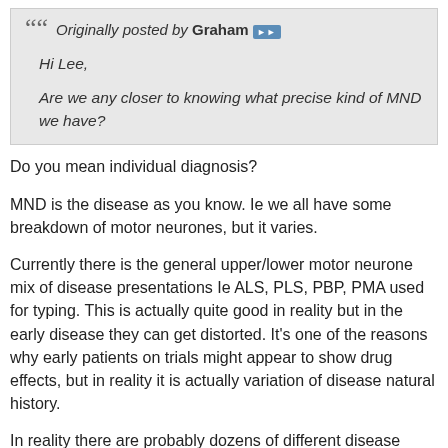Originally posted by Graham ▶▶

Hi Lee,

Are we any closer to knowing what precise kind of MND we have?
Do you mean individual diagnosis?
MND is the disease as you know. Ie we all have some breakdown of motor neurones, but it varies.
Currently there is the general upper/lower motor neurone mix of disease presentations Ie ALS, PLS, PBP, PMA used for typing. This is actually quite good in reality but in the early disease they can get distorted. It's one of the reasons why early patients on trials might appear to show drug effects, but in reality it is actually variation of disease natural history.
In reality there are probably dozens of different disease pathways which lead all to the same final pathology. That is why we need to target certain processes because some may be common to all presentations etc.